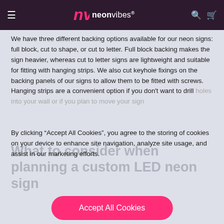neonvibes
We have three different backing options available for our neon signs: full block, cut to shape, or cut to letter. Full block backing makes the sign heavier, whereas cut to letter signs are lightweight and suitable for fitting with hanging strips. We also cut keyhole fixings on the backing panels of our signs to allow them to be fitted with screws. Hanging strips are a convenient option if you don't want to drill holes into your wall or if you plan to move your sign
By clicking "Accept All Cookies", you agree to the storing of cookies on your device to enhance site navigation, analyze site usage, and assist in our marketing efforts.
What to consider when planning a custom LED neon sign
Accept All Cookies